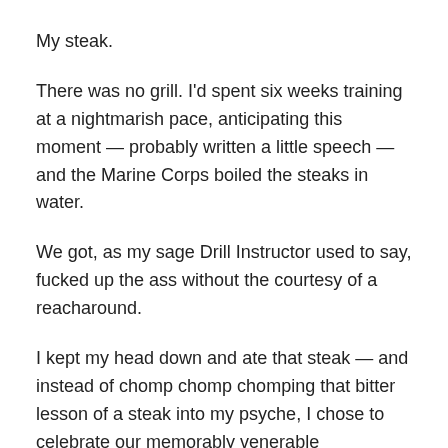My steak.
There was no grill. I'd spent six weeks training at a nightmarish pace, anticipating this moment — probably written a little speech — and the Marine Corps boiled the steaks in water.
We got, as my sage Drill Instructor used to say, fucked up the ass without the courtesy of a reacharound.
I kept my head down and ate that steak — and instead of chomp chomp chomping that bitter lesson of a steak into my psyche, I chose to celebrate our memorably venerable accomplishments.
Semper Fidelis.
Author, blogger, television writer, world traveler, and